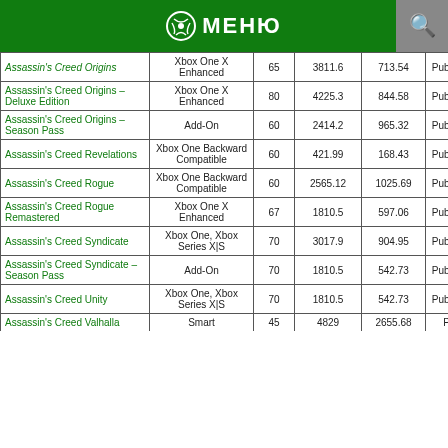МЕНЮ
| Game | Type | % | Price | Sale Price | Sale Type |
| --- | --- | --- | --- | --- | --- |
| Assassin's Creed Origins | Xbox One X Enhanced | 65 | 3811.6 | 713.54 | Publisher Sale |
| Assassin's Creed Origins – Deluxe Edition | Xbox One X Enhanced | 80 | 4225.3 | 844.58 | Publisher Sale |
| Assassin's Creed Origins – Season Pass | Add-On | 60 | 2414.2 | 965.32 | Publisher Sale |
| Assassin's Creed Revelations | Xbox One Backward Compatible | 60 | 421.99 | 168.43 | Publisher Sale |
| Assassin's Creed Rogue | Xbox One Backward Compatible | 60 | 2565.12 | 1025.69 | Publisher Sale |
| Assassin's Creed Rogue Remastered | Xbox One X Enhanced | 67 | 1810.5 | 597.06 | Publisher Sale |
| Assassin's Creed Syndicate | Xbox One, Xbox Series X|S | 70 | 3017.9 | 904.95 | Publisher Sale |
| Assassin's Creed Syndicate – Season Pass | Add-On | 70 | 1810.5 | 542.73 | Publisher Sale |
| Assassin's Creed Unity | Xbox One, Xbox Series X|S | 70 | 1810.5 | 542.73 | Publisher Sale |
| Assassin's Creed Valhalla | Smart | 45 | 4829 | 2655.68 | Publisher |